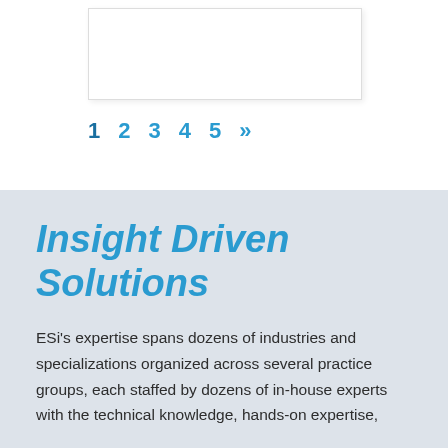[Figure (other): White rectangular image placeholder with light border and shadow in upper portion of page]
1  2  3  4  5  »
Insight Driven Solutions
ESi's expertise spans dozens of industries and specializations organized across several practice groups, each staffed by dozens of in-house experts with the technical knowledge, hands-on expertise,